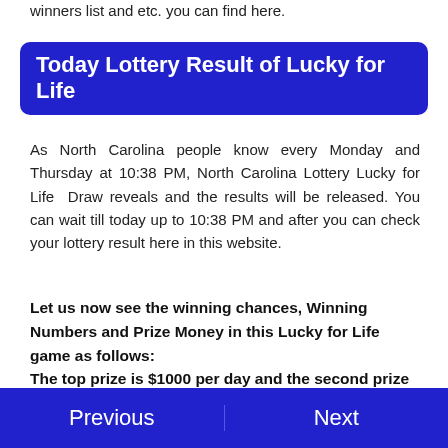winners list and etc. you can find here.
Today Lottery Result of Lucky for Life
As North Carolina people know every Monday and Thursday at 10:38 PM, North Carolina Lottery Lucky for Life Draw reveals and the results will be released. You can wait till today up to 10:38 PM and after you can check your lottery result here in this website.
Let us now see the winning chances, Winning Numbers and Prize Money in this Lucky for Life game as follows:
The top prize is $1000 per day and the second prize is $25,000 a year of life.
Previous   Next